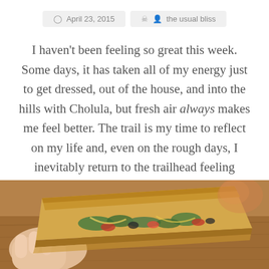April 23, 2015   the usual bliss
I haven't been feeling so great this week. Some days, it has taken all of my energy just to get dressed, out of the house, and into the hills with Cholula, but fresh air always makes me feel better. The trail is my time to reflect on my life and, even on the rough days, I inevitably return to the trailhead feeling thankful. Here's a handful of this week's smiles!
[Figure (photo): Close-up photo of a hand holding a quesadilla or flatbread filled with greens, cheese, and vegetables, on a wooden surface]